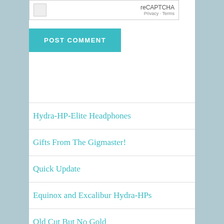[Figure (screenshot): reCAPTCHA widget box showing 'reCAPTCHA' label and 'Privacy - Terms' text]
POST COMMENT
Hydra-HP-Elite Headphones
Gifts From The Gigmaster!
Quick Update
Equinox and Excalibur Hydra-HPs
Old Cut But No Gold